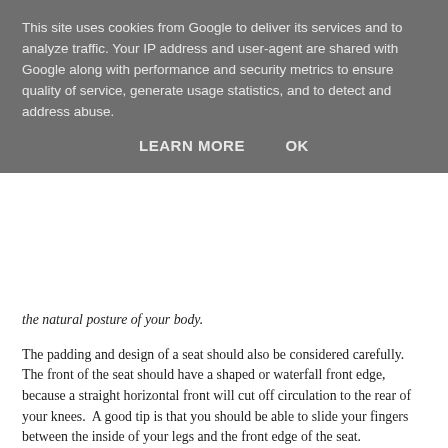This site uses cookies from Google to deliver its services and to analyze traffic. Your IP address and user-agent are shared with Google along with performance and security metrics to ensure quality of service, generate usage statistics, and to detect and address abuse.
LEARN MORE   OK
the natural posture of your body.
The padding and design of a seat should also be considered carefully.  The front of the seat should have a shaped or waterfall front edge, because a straight horizontal front will cut off circulation to the rear of your knees.  A good tip is that you should be able to slide your fingers between the inside of your legs and the front edge of the seat.
Will the chair be stable enough?
As amusing as it may be for your colleagues to see you fall off your chair, it is not what you want, and you could really hurt yourself.  You should assure that the chair has the right amount of stability for its purpose.